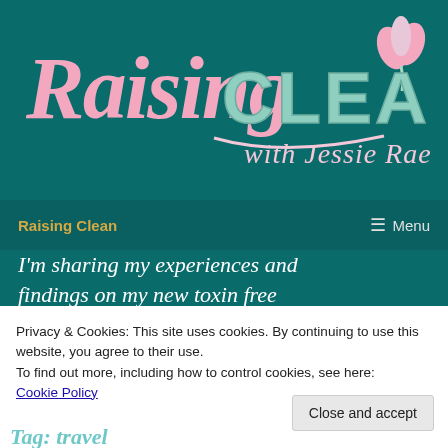[Figure (logo): Raising Clean with Jessie Rae logo on teal background. Script pink text 'Raising' followed by blocky mint-green text 'CLEAN' with a pink tulip icon, and cursive text 'with Jessie Rae' below.]
Raising Clean
≡ Menu
I'm sharing my experiences and findings on my new toxin free journey!
Privacy & Cookies: This site uses cookies. By continuing to use this website, you agree to their use.
To find out more, including how to control cookies, see here:
Cookie Policy
Close and accept
Tag: travel